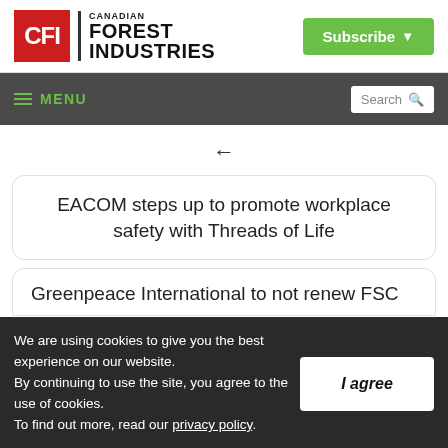[Figure (logo): Canadian Forest Industries (CFI) logo with red CFI box and black text, plus green Subscribe button]
≡ MENU | Search
←
EACOM steps up to promote workplace safety with Threads of Life
Greenpeace International to not renew FSC
We are using cookies to give you the best experience on our website. By continuing to use the site, you agree to the use of cookies. To find out more, read our privacy policy.